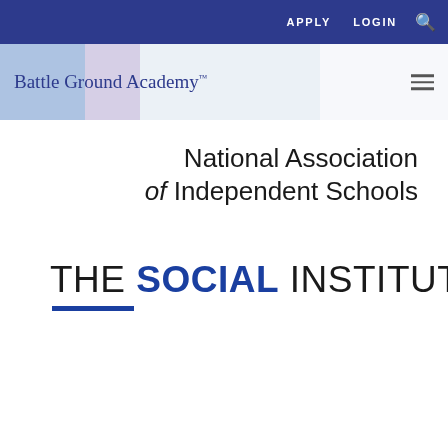APPLY   LOGIN
[Figure (logo): Battle Ground Academy logo with decorative background tiles]
[Figure (logo): National Association of Independent Schools logo text]
[Figure (logo): The Social Institute logo with blue underline bar]